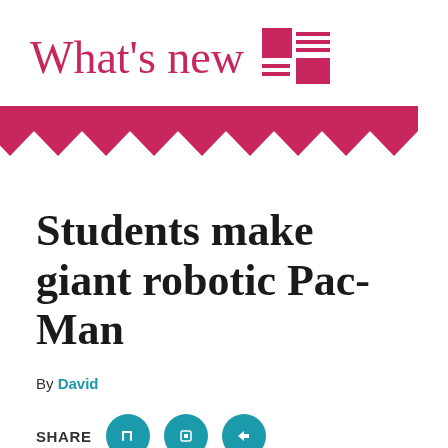What's new
[Figure (illustration): News/article icon with two squares and horizontal lines, in pink/crimson color]
[Figure (illustration): Zigzag/chevron decorative border in crimson/pink color]
Students make giant robotic Pac-Man
By David
SHARE